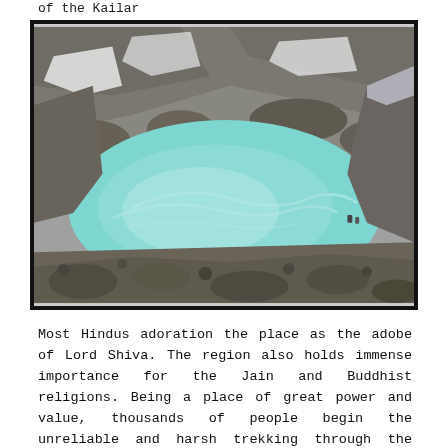of the Kailar
[Figure (photo): Aerial view of a turquoise glacial lake surrounded by rocky mountain terrain with patches of snow]
Most Hindus adoration the place as the adobe of Lord Shiva. The region also holds immense importance for the Jain and Buddhist religions. Being a place of great power and value, thousands of people begin the unreliable and harsh trekking through the mountains and plains of Nepal